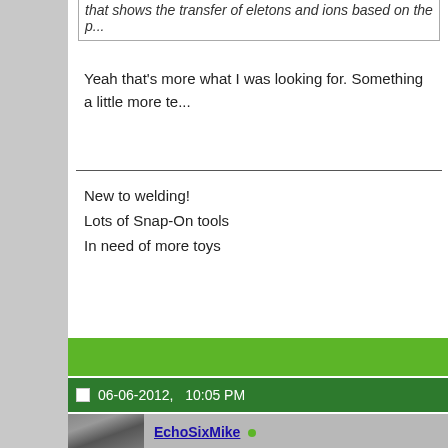that shows the transfer of electrons and ions based on the p...
Yeah that's more what I was looking for. Something a little more te...
New to welding!
Lots of Snap-On tools
In need of more toys
06-06-2012,   10:05 PM
EchoSixMike • Member